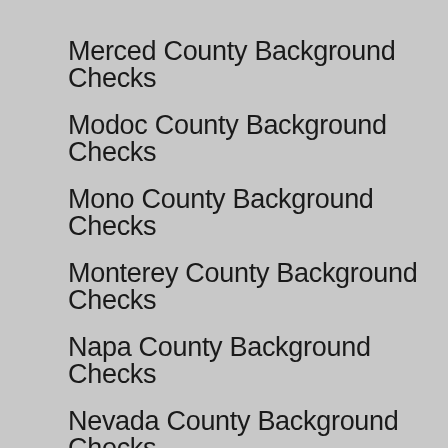Merced County Background Checks
Modoc County Background Checks
Mono County Background Checks
Monterey County Background Checks
Napa County Background Checks
Nevada County Background Checks
Orange County Background Checks
Placer County Background Checks
Plumas County Background Checks
Riverside County Background Checks
Sacramento County Background Checks